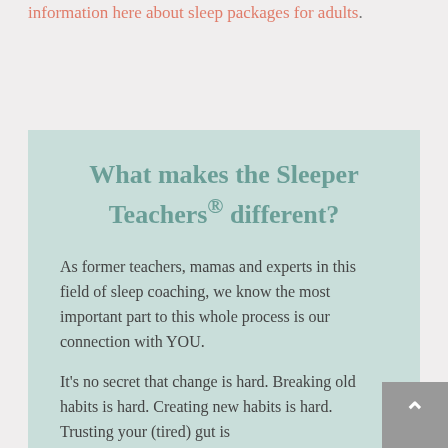information here about sleep packages for adults.
What makes the Sleeper Teachers® different?
As former teachers, mamas and experts in this field of sleep coaching, we know the most important part to this whole process is our connection with YOU.
It's no secret that change is hard. Breaking old habits is hard. Creating new habits is hard. Trusting your (tired) gut is